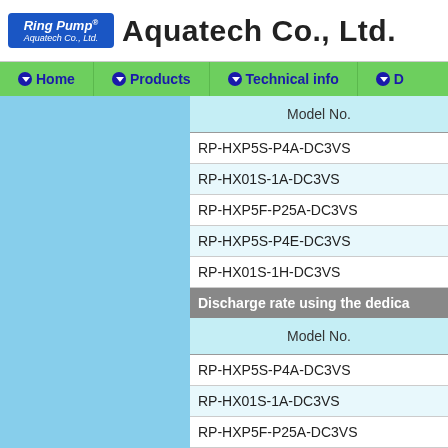Ring Pump® Aquatech Co., Ltd. | Aquatech Co., Ltd.
Home | Products | Technical info | D...
| Model No. |
| --- |
| RP-HXP5S-P4A-DC3VS |
| RP-HX01S-1A-DC3VS |
| RP-HXP5F-P25A-DC3VS |
| RP-HXP5S-P4E-DC3VS |
| RP-HX01S-1H-DC3VS |
Discharge rate using the dedica...
| Model No. |
| --- |
| RP-HXP5S-P4A-DC3VS |
| RP-HX01S-1A-DC3VS |
| RP-HXP5F-P25A-DC3VS |
| RP-HXP5S-P4E-DC3VS |